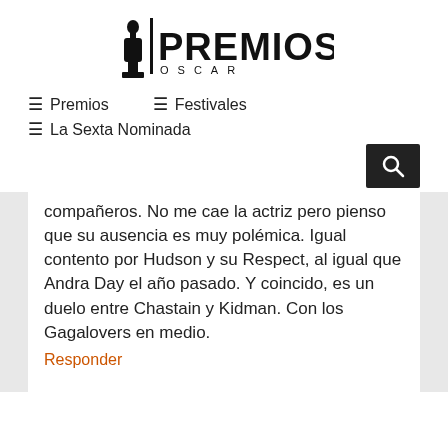[Figure (logo): Premios Oscar logo with Oscar statuette silhouette and text PREMIOS OSCAR]
☰ Premios
☰ Festivales
☰ La Sexta Nominada
compañeros. No me cae la actriz pero pienso que su ausencia es muy polémica. Igual contento por Hudson y su Respect, al igual que Andra Day el año pasado. Y coincido, es un duelo entre Chastain y Kidman. Con los Gagalovers en medio.
Responder